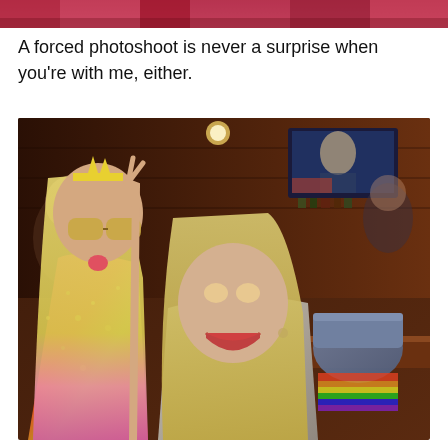[Figure (photo): Partial top strip of a photo showing colorful scene with red and festive colors]
A forced photoshoot is never a surprise when you're with me, either.
[Figure (photo): Two women posing together in a bar setting. The woman on the left has long blonde and pink hair, wearing large sunglasses, a sparkly red and gold outfit, and a tiara, making a peace sign and sticking out her tongue. The woman on the right has straight blonde hair and is smiling widely. The bar background shows bottles, a TV screen, and a colorful handbag on the counter.]